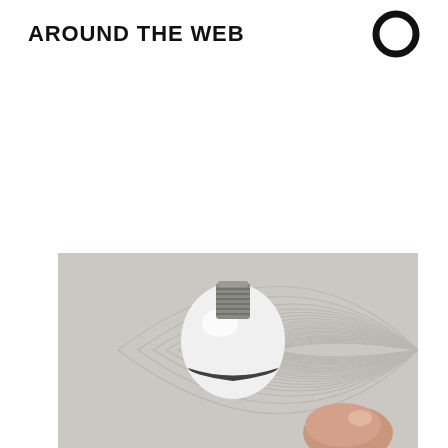AROUND THE WEB
[Figure (photo): A white LED light bulb lying on a textured woven surface (light grey fabric or mat with circular/concentric ring pattern), viewed from above. The bulb's metal screw base is visible at top. A person's finger (thumb) is visible at the bottom right, touching or holding the bulb. The bulb has a thin black band around its lower portion.]